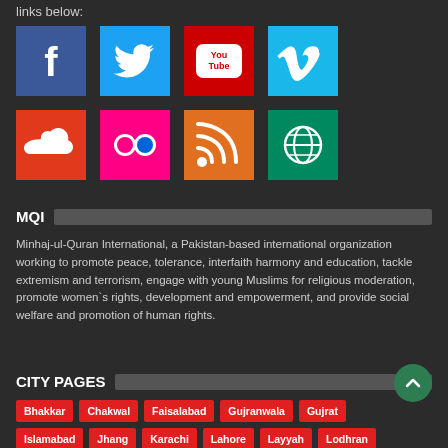links below:
[Figure (infographic): Social media icons: Facebook (blue), Twitter (blue), YouTube (red), Vimeo (cyan), SoundCloud (red), Flickr (pink), RSS (orange), Web/Globe (green)]
MQI
Minhaj-ul-Quran International, a Pakistan-based international organization working to promote peace, tolerance, interfaith harmony and education, tackle extremism and terrorism, engage with young Muslims for religious moderation, promote women`s rights, development and empowerment, and provide social welfare and promotion of human rights.
CITY PAGES
Bhakkar
Chakwal
Faisalabad
Gujranwala
Gujrat
Islamabad
Jhang
Karachi
Lahore
Layyah
Lodhran